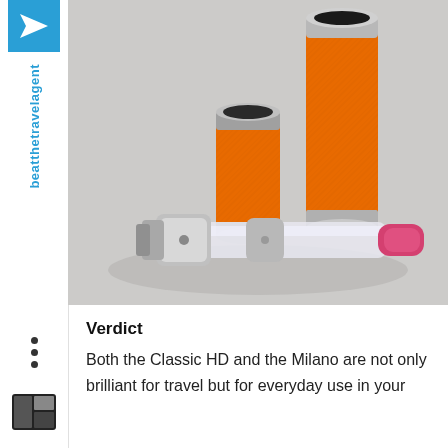beatthetravelagent
[Figure (photo): Two orange leather-wrapped cylindrical perfume atomizer containers and one clear/pink refillable atomizer bottle with silver metal fittings, arranged on a light grey background.]
Verdict
Both the Classic HD and the Milano are not only brilliant for travel but for everyday use in your